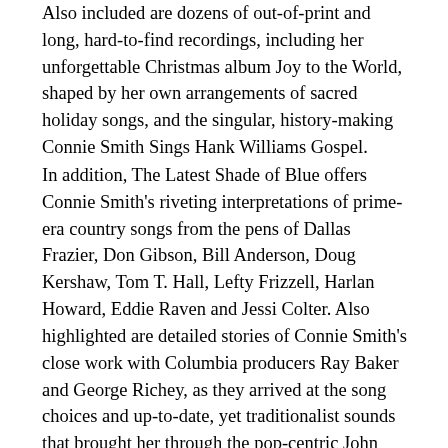Also included are dozens of out-of-print and long, hard-to-find recordings, including her unforgettable Christmas album Joy to the World, shaped by her own arrangements of sacred holiday songs, and the singular, history-making Connie Smith Sings Hank Williams Gospel.
In addition, The Latest Shade of Blue offers Connie Smith's riveting interpretations of prime-era country songs from the pens of Dallas Frazier, Don Gibson, Bill Anderson, Doug Kershaw, Tom T. Hall, Lefty Frizzell, Harlan Howard, Eddie Raven and Jessi Colter. Also highlighted are detailed stories of Connie Smith's close work with Columbia producers Ray Baker and George Richey, as they arrived at the song choices and up-to-date, yet traditionalist sounds that brought her through the pop-centric John Denver/Olivia Newton-John country era with her core classic country intact. The anecdotes are based on extensive new interviews with Smith and Baker themselves. They are found in the